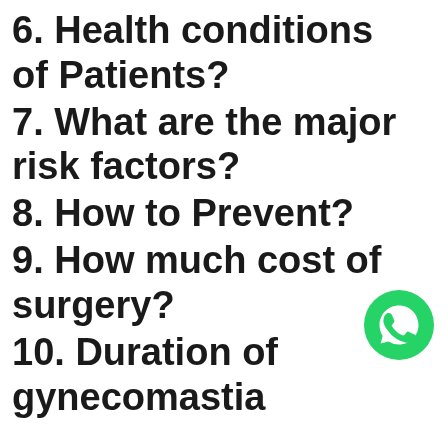6. Health conditions of Patients?
7. What are the major risk factors?
8. How to Prevent?
9. How much cost of surgery?
[Figure (logo): WhatsApp green phone icon]
10. Duration of gynecomastia